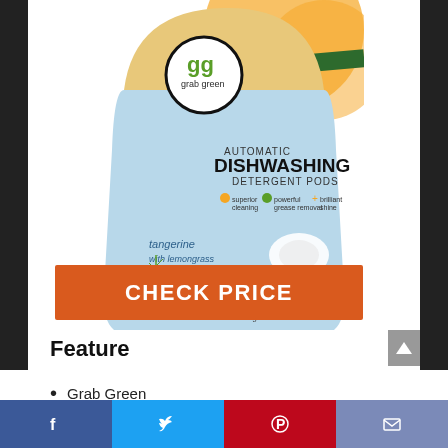[Figure (photo): Grab Green Automatic Dishwashing Detergent Pods package, tangerine with lemongrass scent, 24 loads, 432g]
CHECK PRICE
Feature
Grab Green
[Figure (infographic): Social share bar with Facebook, Twitter, Pinterest, and email icons]